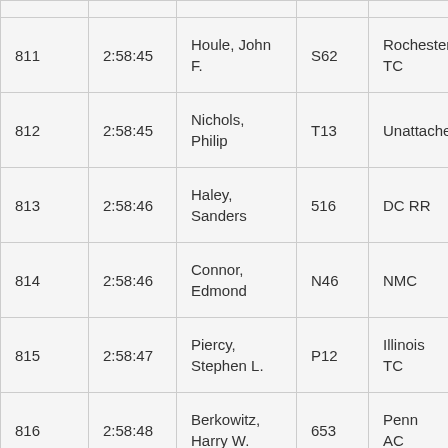| 811 | 2:58:45 | Houle, John F. | S62 | Rochester TC |
| 812 | 2:58:45 | Nichols, Philip | T13 | Unattached |
| 813 | 2:58:46 | Haley, Sanders | 516 | DC RR |
| 814 | 2:58:46 | Connor, Edmond | N46 | NMC |
| 815 | 2:58:47 | Piercy, Stephen L. | P12 | Illinois TC |
| 816 | 2:58:48 | Berkowitz, Harry W. | 653 | Penn AC |